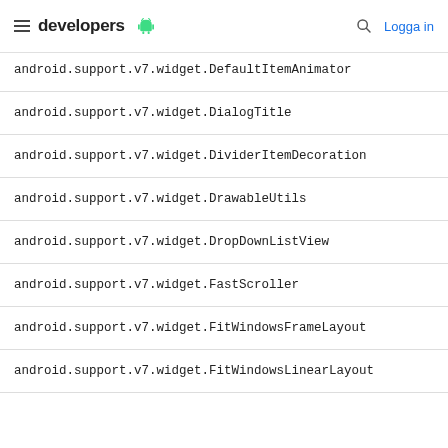developers | Logga in
android.support.v7.widget.DefaultItemAnimator
android.support.v7.widget.DialogTitle
android.support.v7.widget.DividerItemDecoration
android.support.v7.widget.DrawableUtils
android.support.v7.widget.DropDownListView
android.support.v7.widget.FastScroller
android.support.v7.widget.FitWindowsFrameLayout
android.support.v7.widget.FitWindowsLinearLayout